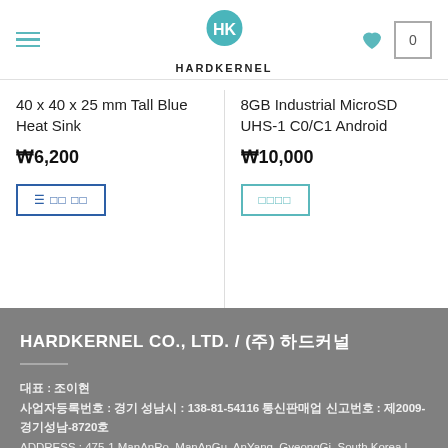HARDKERNEL
40 x 40 x 25 mm Tall Blue Heat Sink
₩6,200
8GB Industrial MicroSD UHS-1 C0/C1 Android
₩10,000
HARDKERNEL CO., LTD. / (주) 하드커널
대표 : 조이현
사업자등록번호 : 경기 성남시 : 138-81-54116 통신판매업 신고번호 : 제2009-경기성남-8720호
ADDRESS : 475-1 ManAnRo, ManAnGu, AnYang, GyeongGi, South Korea | ZIP:13962
경기도 안양시 만안구 만안로 475-1 (우:13962)